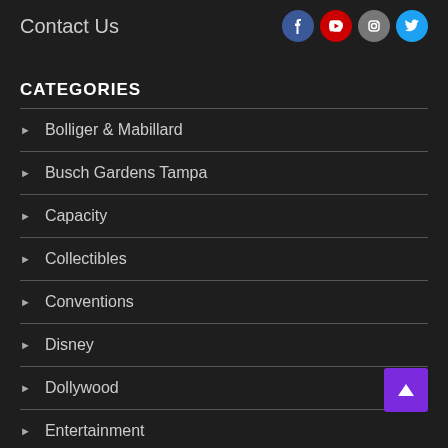Contact Us
[Figure (illustration): Social media icons: Facebook (blue circle), YouTube (red circle), Instagram (gray circle), Twitter (cyan circle)]
CATEGORIES
Bolliger & Mabillard
Busch Gardens Tampa
Capacity
Collectibles
Conventions
Disney
Dollywood
Entertainment
E... Pa...